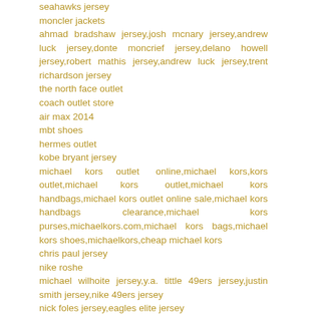seahawks jersey
moncler jackets
ahmad bradshaw jersey,josh mcnary jersey,andrew luck jersey,donte moncrief jersey,delano howell jersey,robert mathis jersey,andrew luck jersey,trent richardson jersey
the north face outlet
coach outlet store
air max 2014
mbt shoes
hermes outlet
kobe bryant jersey
michael kors outlet online,michael kors,kors outlet,michael kors outlet,michael kors handbags,michael kors outlet online sale,michael kors handbags clearance,michael kors purses,michaelkors.com,michael kors bags,michael kors shoes,michaelkors,cheap michael kors
chris paul jersey
nike roshe
michael wilhoite jersey,y.a. tittle 49ers jersey,justin smith jersey,nike 49ers jersey
nick foles jersey,eagles elite jersey